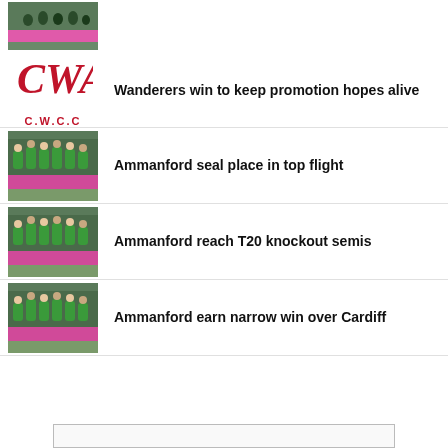[Figure (photo): Cricket team photo with pink banner, partial view at top]
Wanderers win to keep promotion hopes alive
Ammanford seal place in top flight
Ammanford reach T20 knockout semis
Ammanford earn narrow win over Cardiff